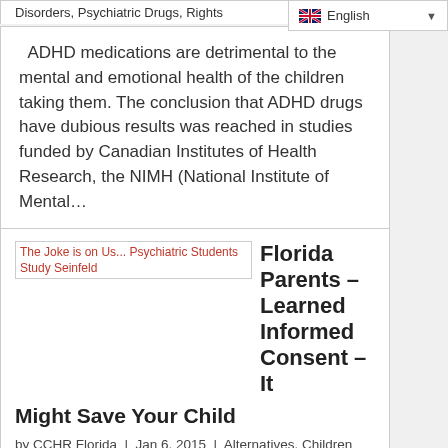Disorders, Psychiatric Drugs, Rights
[Figure (screenshot): English language selector dropdown with flag icon]
ADHD medications are detrimental to the mental and emotional health of the children taking them. The conclusion that ADHD drugs have dubious results was reached in studies funded by Canadian Institutes of Health Research, the NIMH (National Institute of Mental...
[Figure (screenshot): Broken image placeholder linking to 'The Joke is on Us... Psychiatric Students Study Seinfeld']
Florida Parents – Learned Informed Consent – It Might Save Your Child
by CCHR Florida | Jan 6, 2015 | Alternatives, Children and Teens, Mental Health Screening, Mental Illness, Psychiatric Abuse, Psychiatric